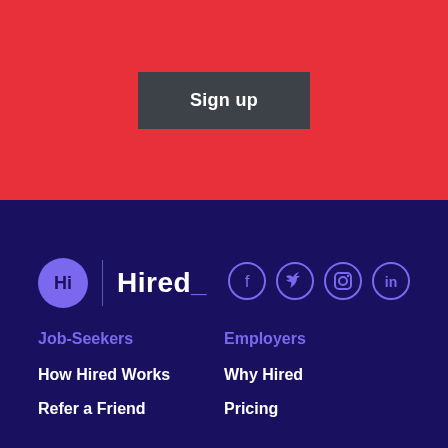Sign up
[Figure (logo): Hired logo with Hi circle icon and Hired_ wordmark]
[Figure (infographic): Social media icons: Facebook, Twitter, Instagram, LinkedIn]
Job-Seekers
Employers
How Hired Works
Why Hired
Refer a Friend
Pricing